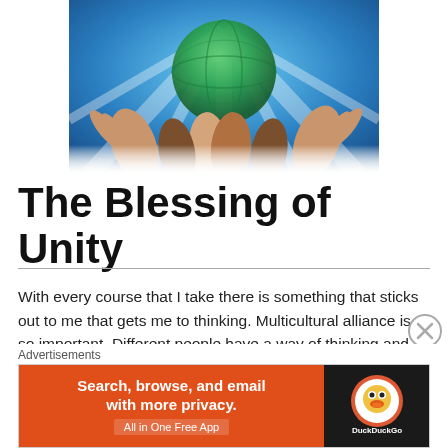[Figure (illustration): Illustration of multiple hands of diverse skin tones holding up a globe with blue background and light rays]
The Blessing of Unity
With every course that I take there is something that sticks out to me that gets me to thinking. Multicultural alliance is so important. Different people have a way of thinking and do things differently. Cross-cultural communication is so important it helps people to become intuitive and sensitive to others which helps with interacting. Communication helps with understanding others. It’s also should be understood that
[Figure (screenshot): Advertisement banner: DuckDuckGo app ad with text 'Search, browse, and email with more privacy. All in One Free App' on orange background with DuckDuckGo logo on dark background]